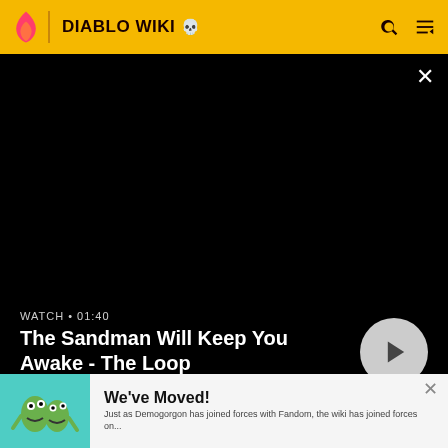DIABLO WIKI
[Figure (screenshot): Black video player area showing a dark/blank video]
WATCH • 01:40
The Sandman Will Keep You Awake - The Loop
| Gold | 1.000 |
We've Moved!
Just as Demogorgon has joined forces with Fandom, the wiki has joined forces on...
READ MORE